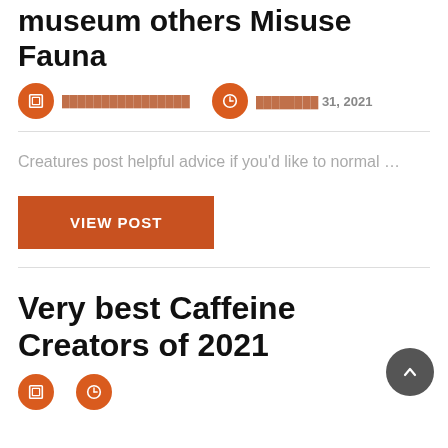museum others Misuse Fauna
████████████████   ████████ 31, 2021
Creatures post helpful advice if you'd like to normal …
VIEW POST
Very best Caffeine Creators of 2021